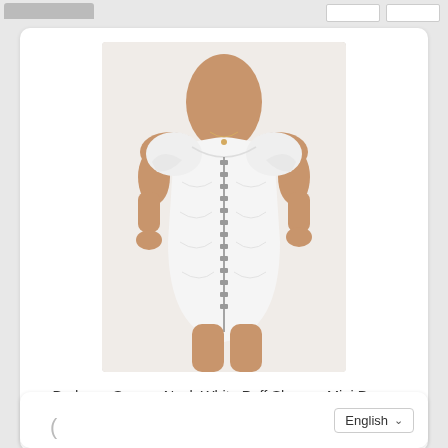[Figure (photo): Product photo of a white bodycon mini dress with puff sleeves, square neck, and front hook-and-eye closure, worn by a model.]
Bodycon Square Neck White Puff Sleeves Mini Dress
$38.50
English